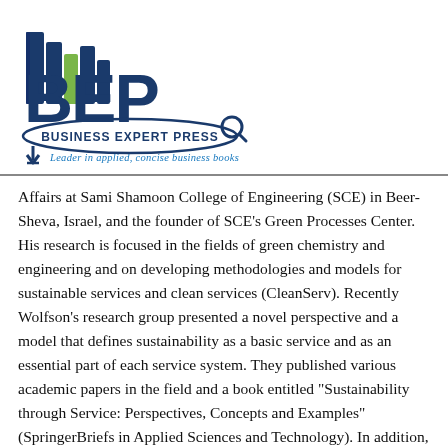[Figure (logo): Business Expert Press logo with stylized books forming 'BEP' letters in dark blue and green, with a magnifying glass icon and tagline 'Leader in applied, concise business books']
Affairs at Sami Shamoon College of Engineering (SCE) in Beer-Sheva, Israel, and the founder of SCE's Green Processes Center. His research is focused in the fields of green chemistry and engineering and on developing methodologies and models for sustainable services and clean services (CleanServ). Recently Wolfson's research group presented a novel perspective and a model that defines sustainability as a basic service and as an essential part of each service system. They published various academic papers in the field and a book entitled “Sustainability through Service: Perspectives, Concepts and Examples” (SpringerBriefs in Applied Sciences and Technology). In addition, Prof. Wolfson recently published a book entitled “Sustainable Service” (Business Expert Press). Prof. Wolfson is